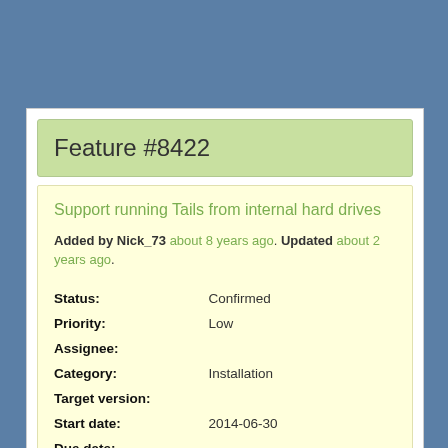Feature #8422
Support running Tails from internal hard drives
Added by Nick_73 about 8 years ago. Updated about 2 years ago.
| Field | Value |
| --- | --- |
| Status: | Confirmed |
| Priority: | Low |
| Assignee: |  |
| Category: | Installation |
| Target version: |  |
| Start date: | 2014-06-30 |
| Due date: |  |
| % Done: | 10% |
| Feature Branch: |  |